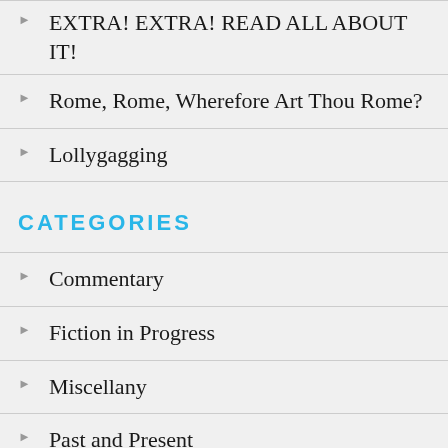EXTRA! EXTRA! READ ALL ABOUT IT!
Rome, Rome, Wherefore Art Thou Rome?
Lollygagging
CATEGORIES
Commentary
Fiction in Progress
Miscellany
Past and Present
Short Stories
Spirit and Faith